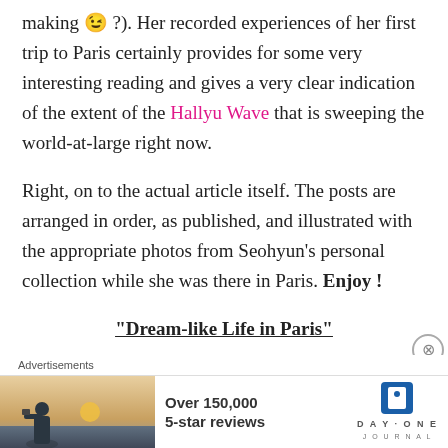making 😉 ?). Her recorded experiences of her first trip to Paris certainly provides for some very interesting reading and gives a very clear indication of the extent of the Hallyu Wave that is sweeping the world-at-large right now.
Right, on to the actual article itself. The posts are arranged in order, as published, and illustrated with the appropriate photos from Seohyun's personal collection while she was there in Paris. Enjoy !
“Dream-like Life in Paris”
1. The Europe I dreamed of, the first in Paris, France.
2. Become a Parisian today! The world is wide and overflowing with things you don't know
Advertisements
[Figure (photo): Advertisement banner for Day One Journal app. Shows a person photographing a sunset on the left, with text 'Over 150,000 5-star reviews' and the Day One Journal logo on the right.]